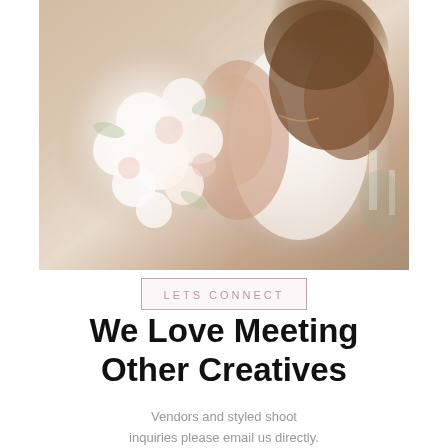[Figure (photo): A bride from behind holding a large white and blush floral bouquet, wearing a white wedding dress with an open back, with brown wavy hair, photographed in a light-filled room]
LETS CONNECT
We Love Meeting Other Creatives
Vendors and styled shoot inquiries please email us directly. We would love to get